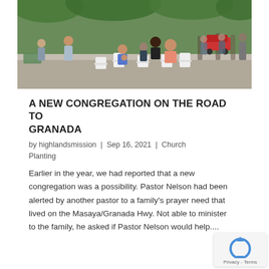[Figure (photo): Outdoor church congregation gathering with people sitting in white plastic chairs under trees, some standing, on a paved area with a red car visible in the background.]
A NEW CONGREGATION ON THE ROAD TO GRANADA
by highlandsmission | Sep 16, 2021 | Church Planting
Earlier in the year, we had reported that a new congregation was a possibility. Pastor Nelson had been alerted by another pastor to a family's prayer need that lived on the Masaya/Granada Hwy. Not able to minister to the family, he asked if Pastor Nelson would help....